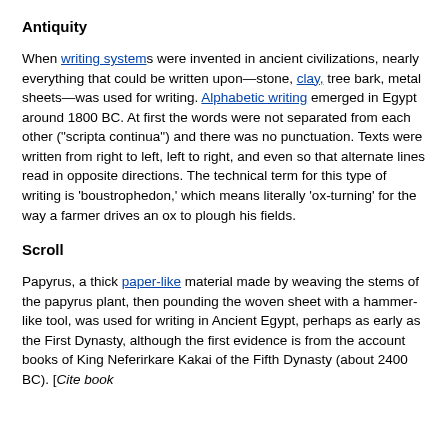Antiquity
When writing systems were invented in ancient civilizations, nearly everything that could be written upon&mdash;stone, clay, tree bark, metal sheets&mdash;was used for writing. Alphabetic writing emerged in Egypt around 1800 BC. At first the words were not separated from each other ("scripta continua") and there was no punctuation. Texts were written from right to left, left to right, and even so that alternate lines read in opposite directions. The technical term for this type of writing is 'boustrophedon,' which means literally 'ox-turning' for the way a farmer drives an ox to plough his fields.
Scroll
Papyrus, a thick paper-like material made by weaving the stems of the papyrus plant, then pounding the woven sheet with a hammer-like tool, was used for writing in Ancient Egypt, perhaps as early as the First Dynasty, although the first evidence is from the account books of King Neferirkare Kakai of the Fifth Dynasty (about 2400 BC). [Cite book